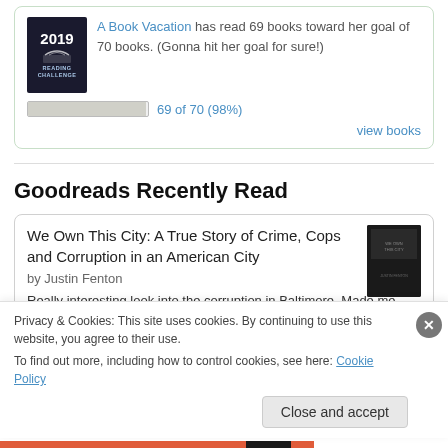A Book Vacation has read 69 books toward her goal of 70 books. (Gonna hit her goal for sure!) 69 of 70 (98%) view books
Goodreads Recently Read
We Own This City: A True Story of Crime, Cops and Corruption in an American City
by Justin Fenton
Really interesting look into the corruption in Baltimore. Made me very
Privacy & Cookies: This site uses cookies. By continuing to use this website, you agree to their use. To find out more, including how to control cookies, see here: Cookie Policy
Close and accept